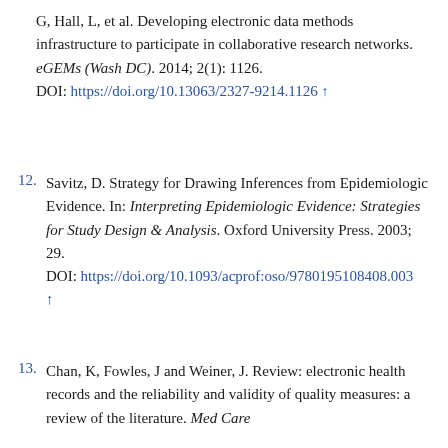G, Hall, L, et al. Developing electronic data methods infrastructure to participate in collaborative research networks. eGEMs (Wash DC). 2014; 2(1): 1126. DOI: https://doi.org/10.13063/2327-9214.1126 ↑
12. Savitz, D. Strategy for Drawing Inferences from Epidemiologic Evidence. In: Interpreting Epidemiologic Evidence: Strategies for Study Design & Analysis. Oxford University Press. 2003; 29. DOI: https://doi.org/10.1093/acprof:oso/9780195108408.003 ↑
13. Chan, K, Fowles, J and Weiner, J. Review: electronic health records and the reliability and validity of quality measures: a review of the literature. Med Care